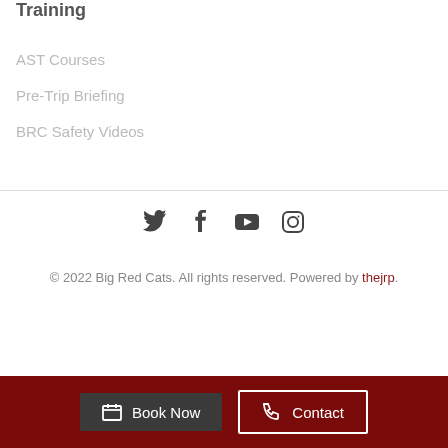Training
AST Courses
Pre-Trip Briefing
BRC Safety Videos
[Figure (infographic): Social media icons: Twitter, Facebook, YouTube, Instagram]
© 2022 Big Red Cats. All rights reserved. Powered by thejrp.
Book Now | Contact